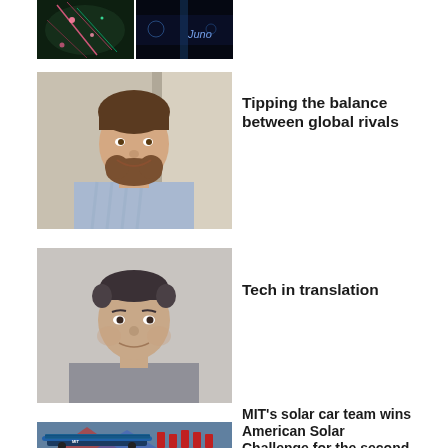[Figure (photo): Two cropped scientific/microscopy images side by side at top of page]
[Figure (photo): Portrait of a young man with beard, smiling, wearing a blue striped shirt]
Tipping the balance between global rivals
[Figure (photo): Portrait of a middle-aged man with dark hair, wearing a gray shirt]
Tech in translation
[Figure (photo): MIT solar car team posing with their solar-powered vehicle at a competition]
MIT's solar car team wins American Solar Challenge for the second year in a row